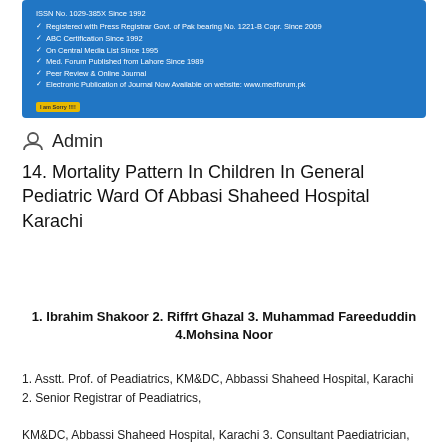[Figure (screenshot): Blue box with journal metadata: ISSN No. 1029-385X Since 1992, Registered with Press Registrar Govt. of Pak bearing No. 1221-B Copr. Since 2009, ABC Certification Since 1992, On Central Media List Since 1995, Med. Forum Published from Lahore Since 1989, Peer Review & Online Journal, Electronic Publication of Journal Now Available on website: www.medforum.pk. A yellow stamp reads 'I am Sorry !!!!'.]
Admin
14. Mortality Pattern In Children In General Pediatric Ward Of Abbasi Shaheed Hospital Karachi
1. Ibrahim Shakoor 2. Riffrt Ghazal 3. Muhammad Fareeduddin 4.Mohsina Noor
1. Asstt. Prof. of Peadiatrics, KM&DC, Abbassi Shaheed Hospital, Karachi 2. Senior Registrar of Peadiatrics, KM&DC, Abbassi Shaheed Hospital, Karachi 3. Consultant Paediatrician, Indus Hospital, Karachi 4. Asstt. Prof. of Peadiatrics, National Institute of Child Health, Karachi